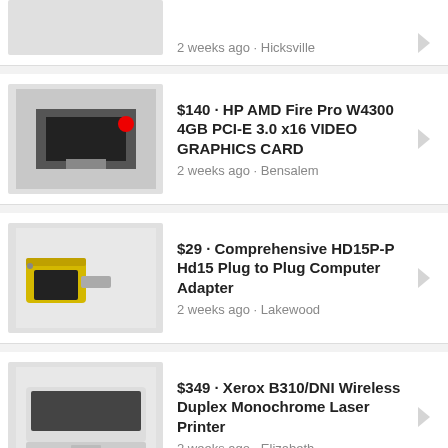2 weeks ago · Hicksville
$140 · HP AMD Fire Pro W4300 4GB PCI-E 3.0 x16 VIDEO GRAPHICS CARD
2 weeks ago · Bensalem
$29 · Comprehensive HD15P-P Hd15 Plug to Plug Computer Adapter
2 weeks ago · Lakewood
$349 · Xerox B310/DNI Wireless Duplex Monochrome Laser Printer
2 weeks ago · Elizabeth
$539 · Ben Q PD3200U Design Vue Designer 32" 4K UHD IPS LED Monitor -
2 weeks ago · Elizabeth
$24 · Vu Point Magic Wand PDS-ST410-VP Handheld Scanner
2 weeks ago · Lakewood
$339 · XFX Radeon R9 Nano 4GB